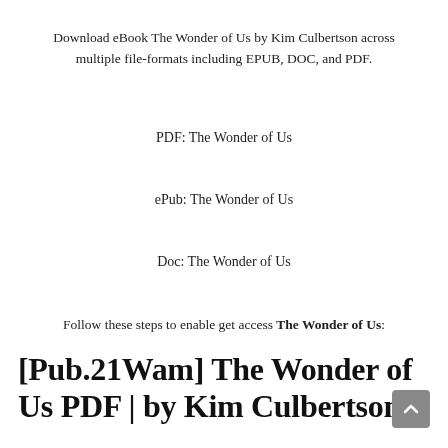Download eBook The Wonder of Us by Kim Culbertson across multiple file-formats including EPUB, DOC, and PDF.
PDF: The Wonder of Us
ePub: The Wonder of Us
Doc: The Wonder of Us
Follow these steps to enable get access The Wonder of Us:
📥Download: The Wonder of Us PDF
[Pub.21Wam] The Wonder of Us PDF | by Kim Culbertson